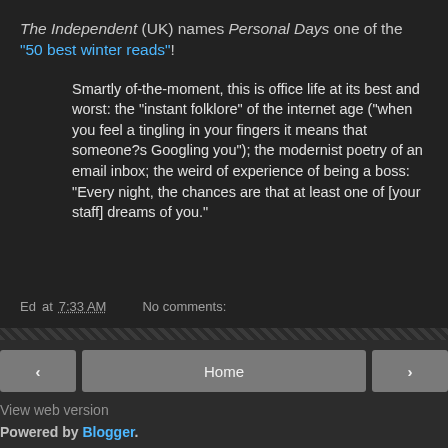The Independent (UK) names Personal Days one of the "50 best winter reads"!
Smartly of-the-moment, this is office life at its best and worst: the "instant folklore" of the internet age ("when you feel a tingling in your fingers it means that someone?s Googling you"); the modernist poetry of an email inbox; the weird of experience of being a boss: "Every night, the chances are that at least one of [your staff] dreams of you."
Ed at 7:33 AM   No comments:
< Home > View web version Powered by Blogger.